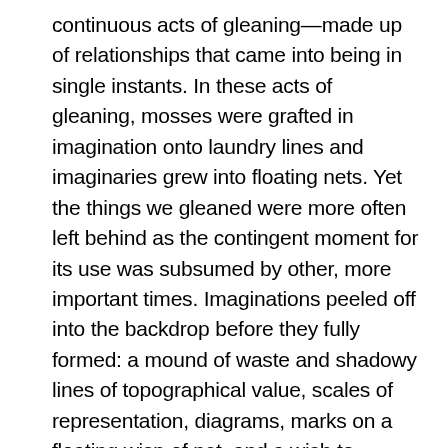continuous acts of gleaning—made up of relationships that came into being in single instants. In these acts of gleaning, mosses were grafted in imagination onto laundry lines and imaginaries grew into floating nets. Yet the things we gleaned were more often left behind as the contingent moment for its use was subsumed by other, more important times. Imaginations peeled off into the backdrop before they fully formed: a mound of waste and shadowy lines of topographical value, scales of representation, diagrams, marks on a floating wisp of net, and a wish to understand our shared and individual conditions of alienness—dislocated thoughts and thoughts on dislocations in space and time, in capitalist structures, forms of artistic labour, organizing and production.
So, what of soil's name? Does soil give us